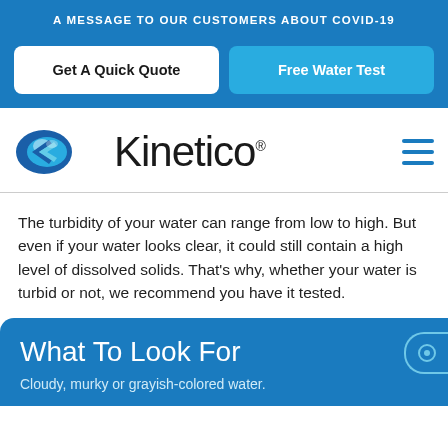A MESSAGE TO OUR CUSTOMERS ABOUT COVID-19
Get A Quick Quote
Free Water Test
[Figure (logo): Kinetico logo with blue water droplet chevron shape and the word Kinetico with registered trademark symbol, plus a hamburger menu icon]
The turbidity of your water can range from low to high. But even if your water looks clear, it could still contain a high level of dissolved solids. That's why, whether your water is turbid or not, we recommend you have it tested.
What To Look For
Cloudy, murky or grayish-colored water.